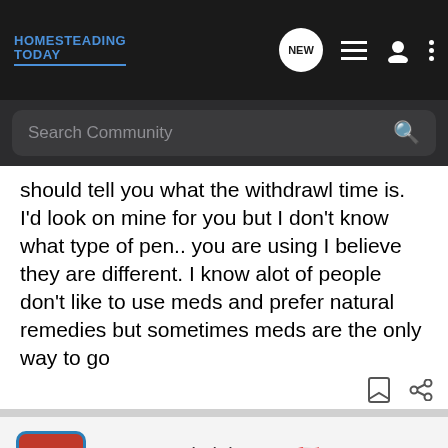HOMESTEADING TODAY
Search Community
should tell you what the withdrawl time is. I'd look on mine for you but I don't know what type of pen.. you are using I believe they are different. I know alot of people don't like to use meds and prefer natural remedies but sometimes meds are the only way to go
wr · Administrator
Joined Aug 10, 2003 · 21,425 Posts
#3 · Nov 30, 2003
Shelby covered it well, I always go a bit longer than the bottle indicates because I figure it's a minimum standard but that is a